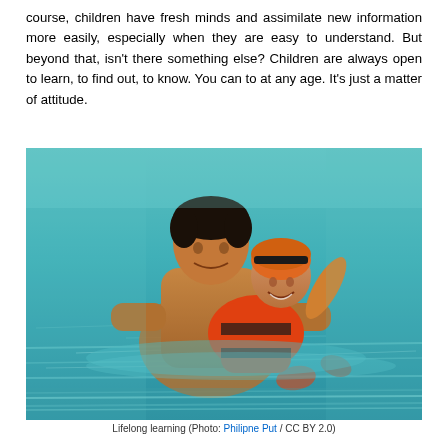course, children have fresh minds and assimilate new information more easily, especially when they are easy to understand. But beyond that, isn't there something else? Children are always open to learn, to find out, to know. You can to at any age. It's just a matter of attitude.
[Figure (photo): An adult man teaching a young child to swim in a pool. The child is wearing an orange and black swim cap and floats with the adult's support. Both are in turquoise water.]
Lifelong learning (Photo: Philipne Put / CC BY 2.0)